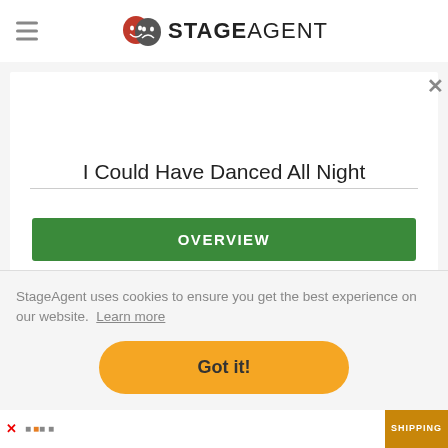STAGEAGENT
I Could Have Danced All Night
OVERVIEW
VOCAL NOTES
16/32 BAR CUT SUGGESTIONS
StageAgent uses cookies to ensure you get the best experience on our website. Learn more
Got it!